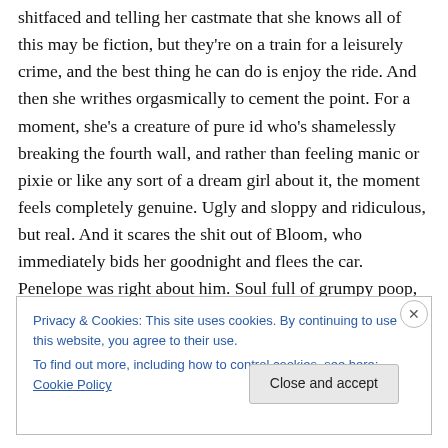shitfaced and telling her castmate that she knows all of this may be fiction, but they're on a train for a leisurely crime, and the best thing he can do is enjoy the ride. And then she writhes orgasmically to cement the point. For a moment, she's a creature of pure id who's shamelessly breaking the fourth wall, and rather than feeling manic or pixie or like any sort of a dream girl about it, the moment feels completely genuine. Ugly and sloppy and ridiculous, but real. And it scares the shit out of Bloom, who immediately bids her goodnight and flees the car. Penelope was right about him. Soul full of grumpy poop,
Privacy & Cookies: This site uses cookies. By continuing to use this website, you agree to their use.
To find out more, including how to control cookies, see here: Cookie Policy